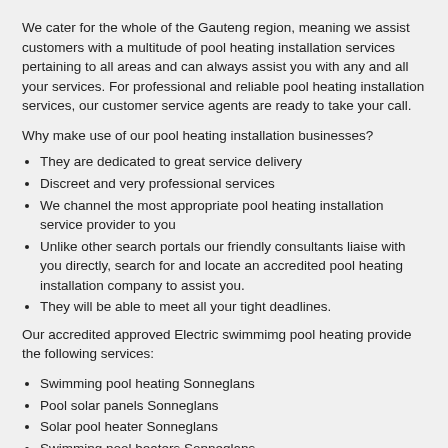We cater for the whole of the Gauteng region, meaning we assist customers with a multitude of pool heating installation services pertaining to all areas and can always assist you with any and all your services. For professional and reliable pool heating installation services, our customer service agents are ready to take your call.
Why make use of our pool heating installation businesses?
They are dedicated to great service delivery
Discreet and very professional services
We channel the most appropriate pool heating installation service provider to you
Unlike other search portals our friendly consultants liaise with you directly, search for and locate an accredited pool heating installation company to assist you.
They will be able to meet all your tight deadlines.
Our accredited approved Electric swimmimg pool heating provide the following services:
Swimming pool heating Sonneglans
Pool solar panels Sonneglans
Solar pool heater Sonneglans
Swimming pool heaters Sonneglans
Swimming pool heater repair Sonneglans
Electric swimmimg pool heating Sonneglans
Pool heater Sonneglans